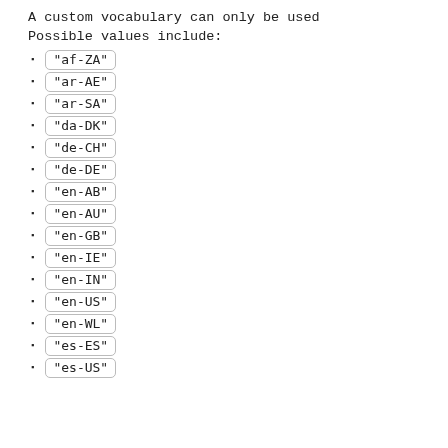A custom vocabulary can only be used
Possible values include:
"af-ZA"
"ar-AE"
"ar-SA"
"da-DK"
"de-CH"
"de-DE"
"en-AB"
"en-AU"
"en-GB"
"en-IE"
"en-IN"
"en-US"
"en-WL"
"es-ES"
"es-US"